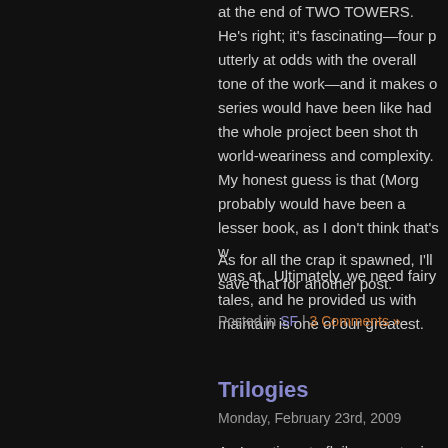at the end of TWO TOWERS.  He's right; it's fascinating—four p utterly at odds with the overall tone of the work—and it makes o series would have been like had the whole project been shot th world-weariness and complexity.  My honest guess is that (Morg probably would have been a lesser book, as I don't think that's w was at.  Ultimately, we need fairy tales, and he provided us with maintain is one of our greatest.
As for all the crap it spawned, I'll save that for another post.
Posted in SF | 3 Comments »
Trilogies
Monday, February 23rd, 2009
As I continue to flail away at mine, I'm thinking about trilogies 24 Meth (great name) posted on the subject recently, assessing tw trilogies, and arguing that the second movie is often the best (e. BACK), and the third is usually the worst (e.g., TERMINATOR 3 with his ratings, with the following exceptions: